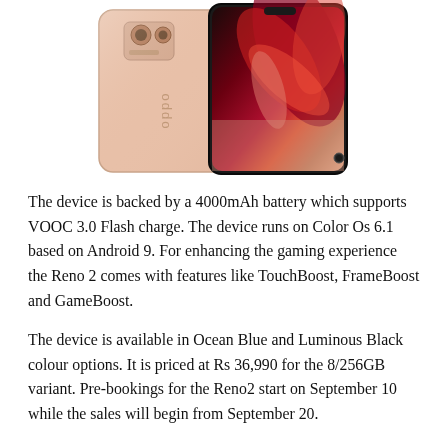[Figure (photo): Photo of two OPPO Reno 2 smartphones — one showing the back in a pink/gold finish with the OPPO logo, and one showing the front screen displaying a colorful flower/feather wallpaper with red and dark tones.]
The device is backed by a 4000mAh battery which supports VOOC 3.0 Flash charge. The device runs on Color Os 6.1 based on Android 9. For enhancing the gaming experience the Reno 2 comes with features like TouchBoost, FrameBoost and GameBoost.
The device is available in Ocean Blue and Luminous Black colour options. It is priced at Rs 36,990 for the 8/256GB variant. Pre-bookings for the Reno2 start on September 10 while the sales will begin from September 20.